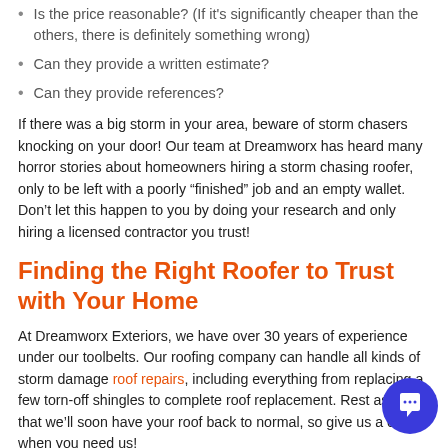Is the price reasonable? (If it's significantly cheaper than the others, there is definitely something wrong)
Can they provide a written estimate?
Can they provide references?
If there was a big storm in your area, beware of storm chasers knocking on your door! Our team at Dreamworx has heard many horror stories about homeowners hiring a storm chasing roofer, only to be left with a poorly “finished” job and an empty wallet. Don’t let this happen to you by doing your research and only hiring a licensed contractor you trust!
Finding the Right Roofer to Trust with Your Home
At Dreamworx Exteriors, we have over 30 years of experience under our toolbelts. Our roofing company can handle all kinds of storm damage roof repairs, including everything from replacing a few torn-off shingles to complete roof replacement. Rest assured that we’ll soon have your roof back to normal, so give us a call when you need us!